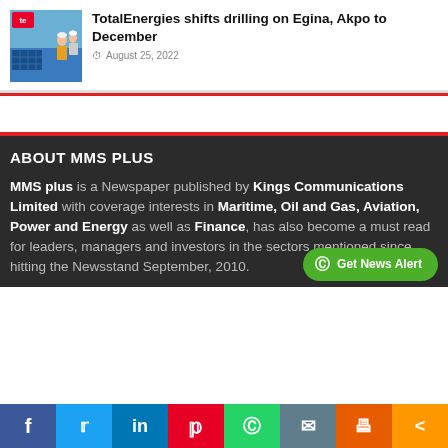[Figure (photo): TotalEnergies article thumbnail with workers and solar panels]
TotalEnergies shifts drilling on Egina, Akpo to December
August 25, 2022
ABOUT MMS PLUS
MMS plus is a Newspaper published by Kings Communications Limited with coverage interests in Maritime, Oil and Gas, Aviation, Power and Energy as well as Finance, has also become a must read for leaders, managers and investors in the sectors mentioned since hitting the Newsstand September, 2010.
Get News Alert